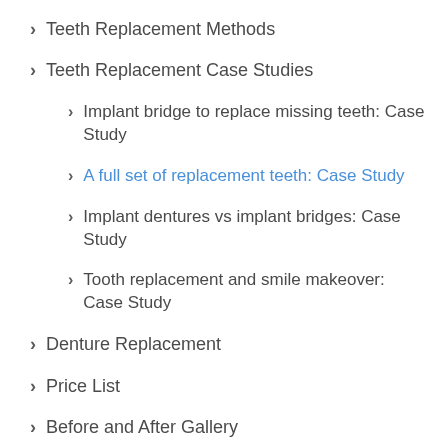Teeth Replacement Methods
Teeth Replacement Case Studies
Implant bridge to replace missing teeth: Case Study
A full set of replacement teeth: Case Study
Implant dentures vs implant bridges: Case Study
Tooth replacement and smile makeover: Case Study
Denture Replacement
Price List
Before and After Gallery